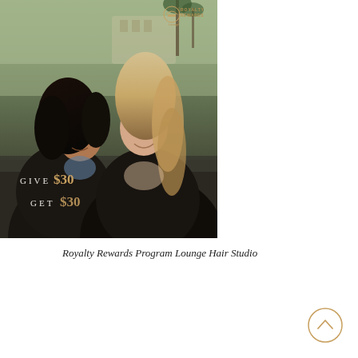[Figure (photo): Two young women smiling and posing together outdoors with greenery and a building in the background. Overlay text reads 'GIVE $30 GET $30'. A logo in the top right corner shows 'Lounge ROYALTY REWARDS'.]
Royalty Rewards Program Lounge Hair Studio